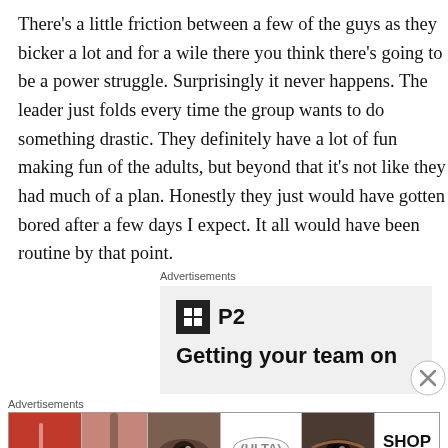There's a little friction between a few of the guys as they bicker a lot and for a wile there you think there's going to be a power struggle. Surprisingly it never happens. The leader just folds every time the group wants to do something drastic. They definitely have a lot of fun making fun of the adults, but beyond that it's not like they had much of a plan. Honestly they just would have gotten bored after a few days I expect. It all would have been routine by that point.
Advertisements
[Figure (screenshot): Advertisement banner showing P2 logo and text 'Getting your team on']
Advertisements
[Figure (screenshot): Ulta Beauty advertisement banner with cosmetic product images and 'SHOP NOW' button]